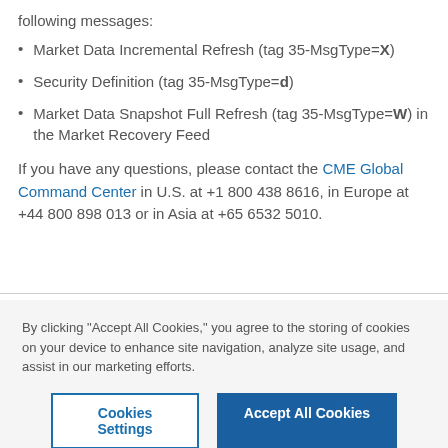following messages:
Market Data Incremental Refresh (tag 35-MsgType=X)
Security Definition (tag 35-MsgType=d)
Market Data Snapshot Full Refresh (tag 35-MsgType=W) in the Market Recovery Feed
If you have any questions, please contact the CME Global Command Center in U.S. at +1 800 438 8616, in Europe at +44 800 898 013 or in Asia at +65 6532 5010.
By clicking “Accept All Cookies,” you agree to the storing of cookies on your device to enhance site navigation, analyze site usage, and assist in our marketing efforts.